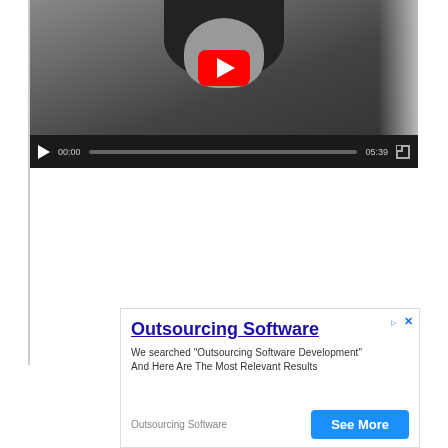[Figure (screenshot): YouTube video player showing a black-and-white thumbnail of a woman with long hair. The player controls show play button, time 00:00, progress bar, duration 05:39, and fullscreen button.]
[Figure (screenshot): Advertisement box: 'Outsourcing Software' title in blue with underline, description text 'We searched "Outsourcing Software Development" And Here Are The Most Relevant Results', domain label 'Outsourcing Software', and a blue 'See More' button. Ad choice and close icons in top right.]